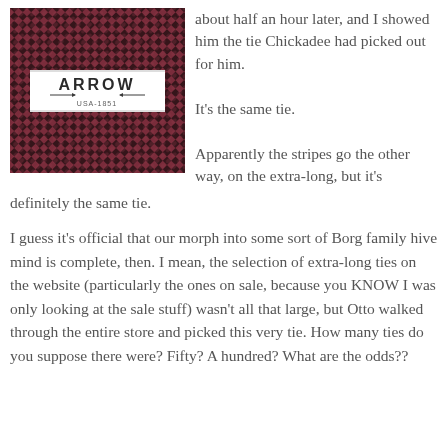[Figure (photo): Close-up photo of a dark red/burgundy and black woven necktie with an Arrow brand label visible in the center, showing 'ARROW USA-1851' on a white paper band]
about half an hour later, and I showed him the tie Chickadee had picked out for him.

It's the same tie.

Apparently the stripes go the other way, on the extra-long, but it's definitely the same tie.
I guess it's official that our morph into some sort of Borg family hive mind is complete, then. I mean, the selection of extra-long ties on the website (particularly the ones on sale, because you KNOW I was only looking at the sale stuff) wasn't all that large, but Otto walked through the entire store and picked this very tie. How many ties do you suppose there were? Fifty? A hundred? What are the odds??